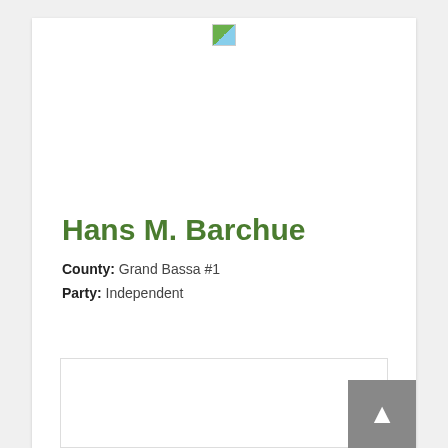[Figure (logo): Small logo image at top center of the page]
Hans M. Barchue
County: Grand Bassa #1
Party: Independent